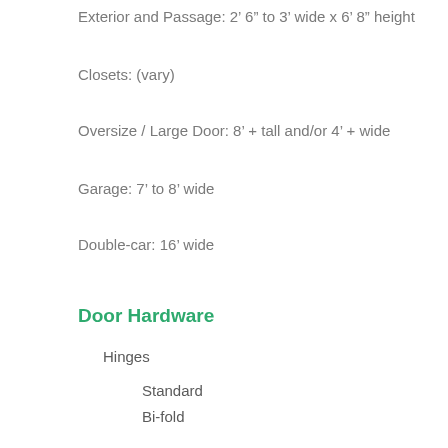Exterior and Passage: 2’ 6” to 3’ wide x 6’ 8” height
Closets: (vary)
Oversize / Large Door: 8’ + tall and/or 4’ + wide
Garage: 7’ to 8’ wide
Double-car: 16’ wide
Door Hardware
Hinges
Standard
Bi-fold
Multi-fold
Door Handles